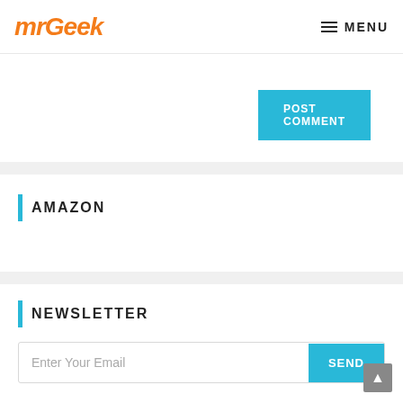MrGeek MENU
[Figure (screenshot): POST COMMENT button (cyan/teal background, white uppercase text)]
AMAZON
NEWSLETTER
[Figure (screenshot): Email input field with placeholder 'Enter Your Email' and SEND button]